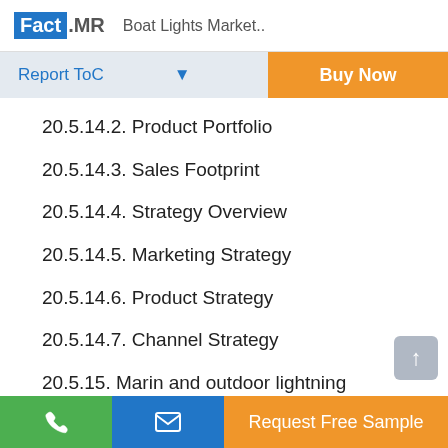Fact.MR Boat Lights Market..
Report ToC
20.5.14.2. Product Portfolio
20.5.14.3. Sales Footprint
20.5.14.4. Strategy Overview
20.5.14.5. Marketing Strategy
20.5.14.6. Product Strategy
20.5.14.7. Channel Strategy
20.5.15. Marin and outdoor lightning
Request Free Sample